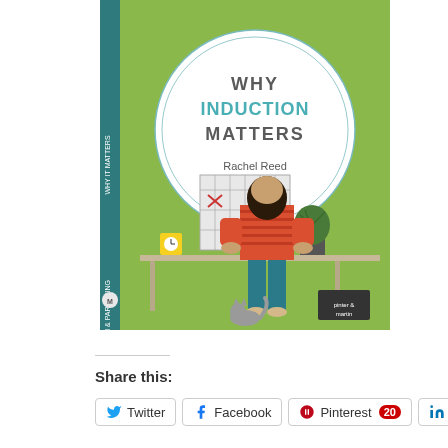[Figure (illustration): Book cover of 'Why Induction Matters' by Rachel Reed, published by Pinter & Martin. Green background with a white circle containing the title text. Illustration of a woman in a red striped shirt and teal pants standing at a desk, viewed from behind, with a cat at her feet and a plant on the desk. A calendar with an X mark is on the wall. Part of the 'Pregnancy, Birth & Parenting' series.]
Share this:
Twitter
Facebook
Pinterest 20
LinkedIn
Em...